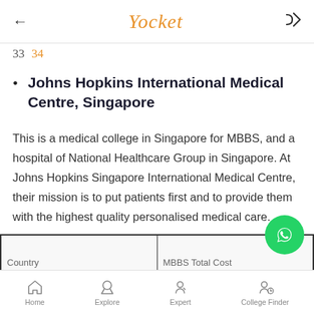Yocket
33  34
Johns Hopkins International Medical Centre, Singapore
This is a medical college in Singapore for MBBS, and a hospital of National Healthcare Group in Singapore. At Johns Hopkins Singapore International Medical Centre, their mission is to put patients first and to provide them with the highest quality personalised medical care.
| Country | MBBS Total Cost |
Home  Explore  Expert  College Finder